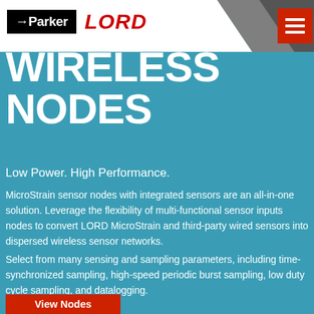Parker LORD
WIRELESS NODES
Low Power. High Performance.
MicroStrain sensor nodes with integrated sensors are an all-in-one solution. Leverage the flexibility of multi-functional sensor inputs nodes to convert LORD MicroStrain and third-party wired sensors into dispersed wireless sensor networks.
Select from many sensing and sampling parameters, including time-synchronized sampling, high-speed periodic burst sampling, low duty cycle sampling, and datalogging.
View Nodes